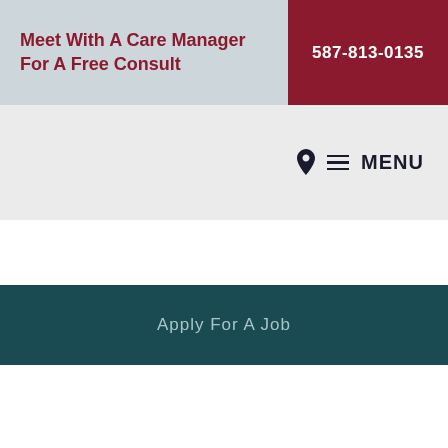Meet With A Care Manager For A Free Consult
587-813-0135
MENU
Apply For A Job
REQUEST A FREE IN-HOME CONSULTATION